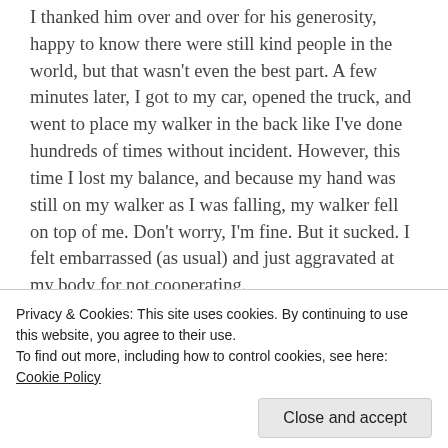I thanked him over and over for his generosity, happy to know there were still kind people in the world, but that wasn't even the best part. A few minutes later, I got to my car, opened the truck, and went to place my walker in the back like I've done hundreds of times without incident. However, this time I lost my balance, and because my hand was still on my walker as I was falling, my walker fell on top of me. Don't worry, I'm fine. But it sucked. I felt embarrassed (as usual) and just aggravated at my body for not cooperating.
[Figure (other): A blue app promotional banner with a 'Get the app' dark blue button in the center and plus symbols on either side]
Privacy & Cookies: This site uses cookies. By continuing to use this website, you agree to their use.
To find out more, including how to control cookies, see here: Cookie Policy
Close and accept